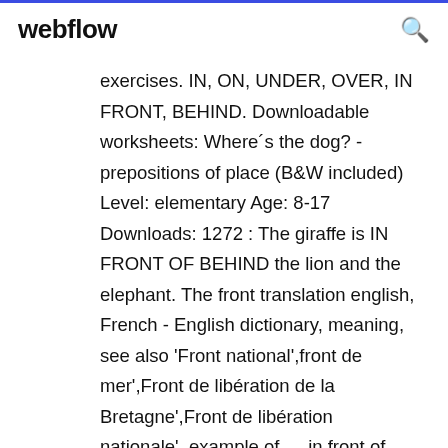webflow
exercises. IN, ON, UNDER, OVER, IN FRONT, BEHIND. Downloadable worksheets: Where´s the dog? - prepositions of place (B&W included) Level: elementary Age: 8-17 Downloads: 1272 : The giraffe is IN FRONT OF BEHIND the lion and the elephant. The front translation english, French - English dictionary, meaning, see also 'Front national',front de mer',Front de libération de la Bretagne',Front de libération nationale', example of ... in front of (someone or something) 1. Directly before a person, group, or thing. Please place the sign in front of the display, not behind it. Come pick me up in 10 minutes. I'll be standing in front of the bank. 2. In the presence of a person or